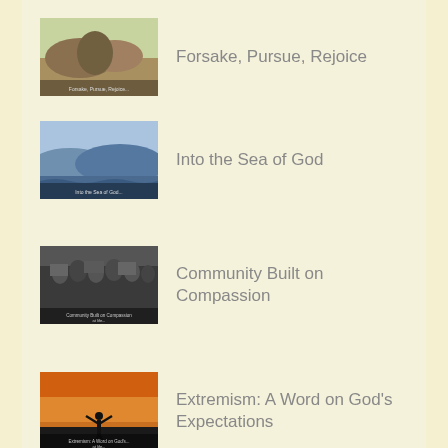Forsake, Pursue, Rejoice
Into the Sea of God
Community Built on Compassion
Extremism: A Word on God's Expectations